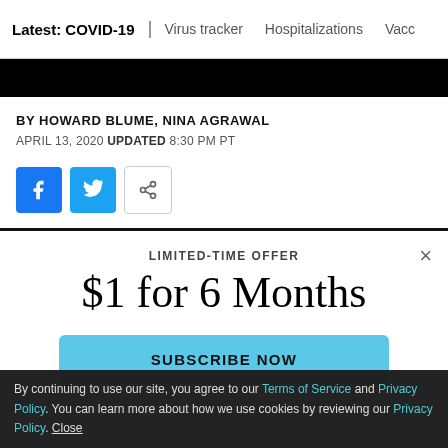Latest: COVID-19 | Virus tracker | Hospitalizations | Vacc
BY HOWARD BLUME, NINA AGRAWAL
APRIL 13, 2020 UPDATED 8:30 PM PT
[Figure (other): Social share buttons: Facebook, Twitter, Share]
LIMITED-TIME OFFER
$1 for 6 Months
SUBSCRIBE NOW
By continuing to use our site, you agree to our Terms of Service and Privacy Policy. You can learn more about how we use cookies by reviewing our Privacy Policy. Close